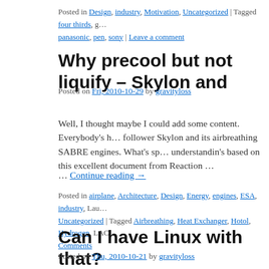Posted in Design, industry, Motivation, Uncategorized | Tagged four thirds, g… panasonic, pen, sony | Leave a comment
Why precool but not liquify – Skylon and…
Posted on Fri, 2010-10-29 by gravityloss
Well, I thought maybe I could add some content. Everybody's h… follower Skylon and its airbreathing SABRE engines. What's sp… understandin's based on this excellent document from Reaction … Continue reading →
Posted in airplane, Architecture, Design, Energy, engines, ESA, industry, Lau… Uncategorized | Tagged Airbreathing, Heat Exchanger, Hotol, Hydrogen, LAC… Comments
Can I have Linux with that?
Posted on Thu, 2010-10-21 by gravityloss
Apple's Iphone, the various Google Android phones by Samsun…